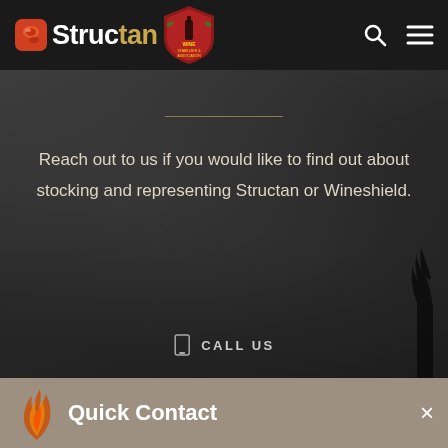Structan | Wine Stabilizer & Wine Association
Reach out to us if you would like to find out about stocking and representing Structan or Wineshield.
CALL US
Quick Contact